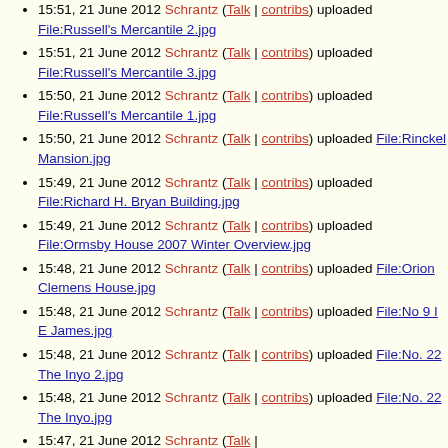15:51, 21 June 2012 Schrantz (Talk | contribs) uploaded File:Russell's Mercantile 2.jpg
15:51, 21 June 2012 Schrantz (Talk | contribs) uploaded File:Russell's Mercantile 3.jpg
15:50, 21 June 2012 Schrantz (Talk | contribs) uploaded File:Russell's Mercantile 1.jpg
15:50, 21 June 2012 Schrantz (Talk | contribs) uploaded File:Rinckel Mansion.jpg
15:49, 21 June 2012 Schrantz (Talk | contribs) uploaded File:Richard H. Bryan Building.jpg
15:49, 21 June 2012 Schrantz (Talk | contribs) uploaded File:Ormsby House 2007 Winter Overview.jpg
15:48, 21 June 2012 Schrantz (Talk | contribs) uploaded File:Orion Clemens House.jpg
15:48, 21 June 2012 Schrantz (Talk | contribs) uploaded File:No 9 I E James.jpg
15:48, 21 June 2012 Schrantz (Talk | contribs) uploaded File:No. 22 The Inyo 2.jpg
15:48, 21 June 2012 Schrantz (Talk | contribs) uploaded File:No. 22 The Inyo.jpg
15:47, 21 June 2012 Schrantz (Talk |